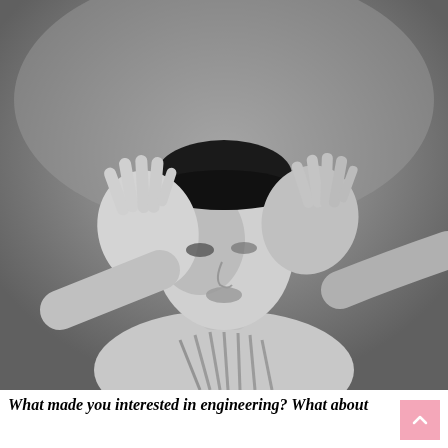[Figure (photo): Black and white portrait photograph of a person with short dark hair styled up, raising both hands with fingers spread wide in front of their face, wearing a strappy top. Dramatic lighting against a grey background.]
What made you interested in engineering? What about